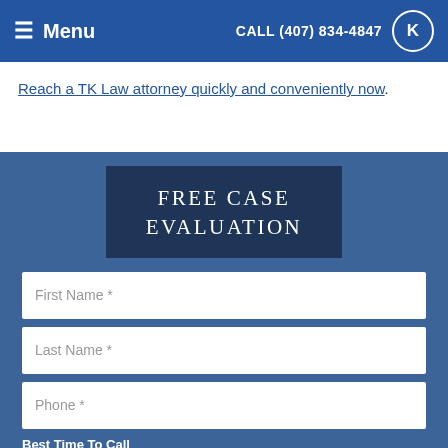≡ Menu  CALL (407) 834-4847
Reach a TK Law attorney quickly and conveniently now.
FREE CASE EVALUATION
First Name *
Last Name *
Phone *
Best Time To Call
Anytime
Email *